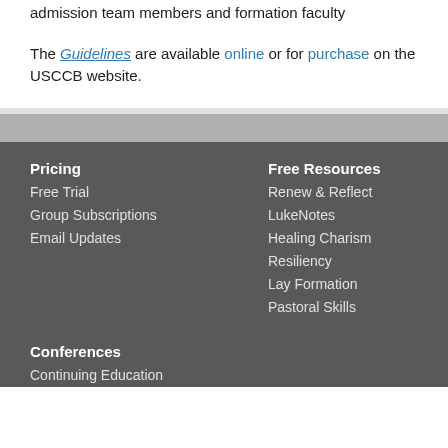admission team members and formation faculty
The Guidelines are available online or for purchase on the USCCB website.
Pricing
Free Trial
Group Subscriptions
Email Updates
Free Resources
Renew & Reflect
LukeNotes
Healing Charism
Resiliency
Lay Formation
Pastoral Skills
Conferences
Continuing Education